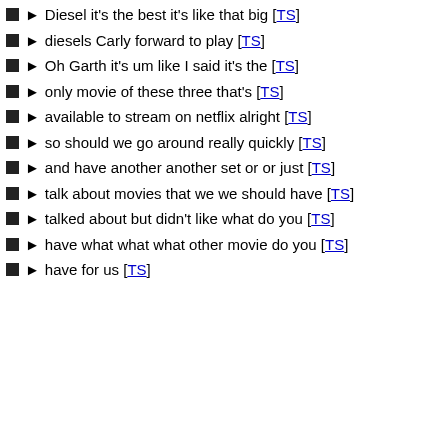Diesel it's the best it's like that big [TS]
diesels Carly forward to play [TS]
Oh Garth it's um like I said it's the [TS]
only movie of these three that's [TS]
available to stream on netflix alright [TS]
so should we go around really quickly [TS]
and have another another set or or just [TS]
talk about movies that we we should have [TS]
talked about but didn't like what do you [TS]
have what what what other movie do you [TS]
have for us [TS]